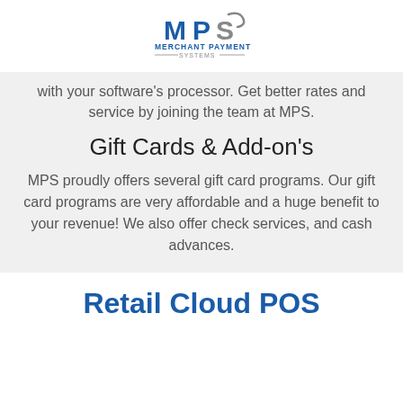Merchant Payment Systems
with your software's processor. Get better rates and service by joining the team at MPS.
Gift Cards & Add-on's
MPS proudly offers several gift card programs. Our gift card programs are very affordable and a huge benefit to your revenue! We also offer check services, and cash advances.
Retail Cloud POS